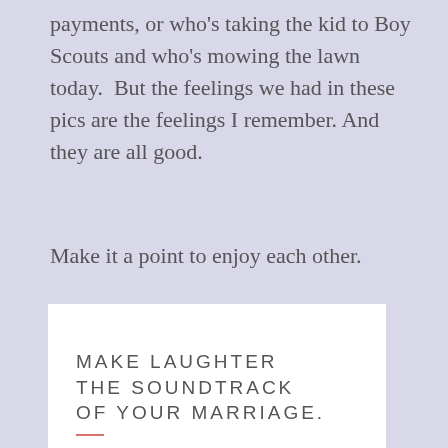payments, or who's taking the kid to Boy Scouts and who's mowing the lawn today. But the feelings we had in these pics are the feelings I remember. And they are all good.
Make it a point to enjoy each other.
[Figure (illustration): White card with large light-gray thin uppercase text reading MAKE LAUGHTER THE SOUNDTRACK OF YOUR MARRIAGE. with a small red/pink underline accent below.]